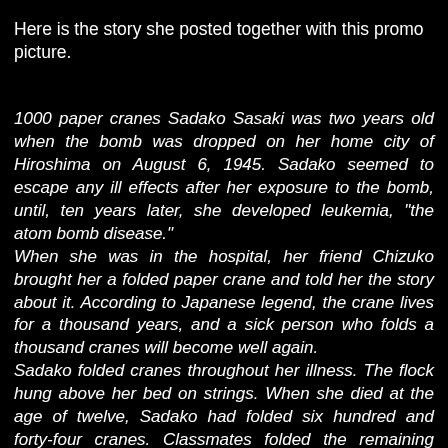Here is the story she posted together with this promo picture.
1000 paper cranes Sadako Sasaki was two years old when the bomb was dropped on her home city of Hiroshima on August 6, 1945. Sadako seemed to escape any ill effects after her exposure to the bomb, until, ten years later, she developed leukemia, "the atom bomb disease." When she was in the hospital, her friend Chizuko brought her a folded paper crane and told her the story about it. According to Japanese legend, the crane lives for a thousand years, and a sick person who folds a thousand cranes will become well again. Sadako folded cranes throughout her illness. The flock hung above her bed on strings. When she died at the age of twelve, Sadako had folded six hundred and forty-four cranes. Classmates folded the remaining three hundred and fifty-six cranes, so that one thousand were buried with Sadako. In 1958, with contributions from school children, a statue was erected in Hiroshima Peace Park, dedicated to Sadako and